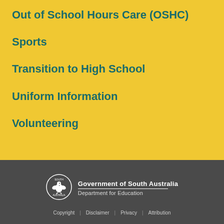Out of School Hours Care (OSHC)
Sports
Transition to High School
Uniform Information
Volunteering
[Figure (logo): Government of South Australia circular seal logo with bird emblem]
Government of South Australia
Department for Education
Copyright | Disclaimer | Privacy | Attribution